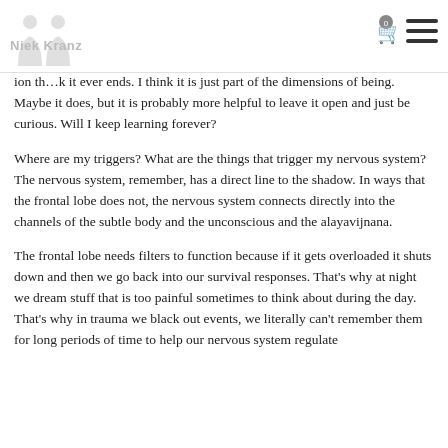Niek Kranz
ion th…k it ever ends. I think it is just part of the dimensions of being. Maybe it does, but it is probably more helpful to leave it open and just be curious. Will I keep learning forever?
Where are my triggers? What are the things that trigger my nervous system? The nervous system, remember, has a direct line to the shadow. In ways that the frontal lobe does not, the nervous system connects directly into the channels of the subtle body and the unconscious and the alayavijnana.
The frontal lobe needs filters to function because if it gets overloaded it shuts down and then we go back into our survival responses. That's why at night we dream stuff that is too painful sometimes to think about during the day. That's why in trauma we black out events, we literally can't remember them for long periods of time to help our nervous system regulate